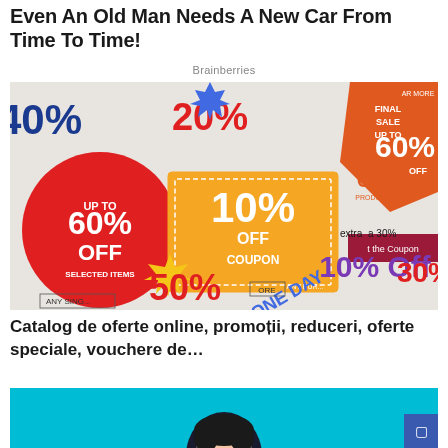Even An Old Man Needs A New Car From Time To Time!
Brainberries
[Figure (photo): Collage of colorful sale coupons and discount tags: 40%, 60% OFF, 20%, FINAL SALE 60% OFF, 10% OFF COUPON, 50%, 10% Off, 30% OFF, ONE DAY sale promotional materials]
Catalog de oferte online, promoții, reduceri, oferte speciale, vouchere de…
[Figure (photo): Partial image of a person with dark hair against a teal/cyan background, bottom portion cut off]